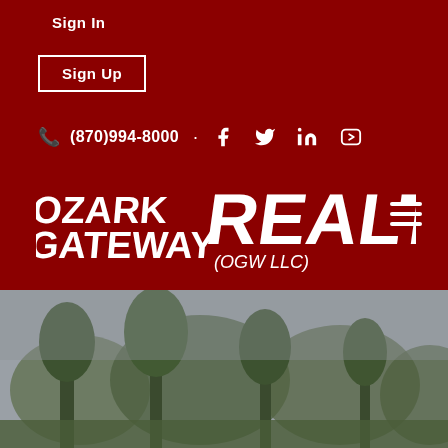Sign In
Sign Up
(870)994-8000
[Figure (logo): Ozark Gateway Realty (OGW LLC) logo in white handwritten-style text on dark red background]
[Figure (photo): Outdoor landscape photo showing trees and overcast sky, muted green and grey tones]